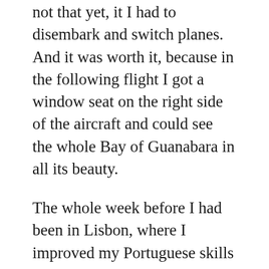not that yet, it I had to disembark and switch planes. And it was worth it, because in the following flight I got a window seat on the right side of the aircraft and could see the whole Bay of Guanabara in all its beauty.
The whole week before I had been in Lisbon, where I improved my Portuguese skills and enjoyed enormously the visit to Fundação Calouste Gulbenkian with all its artifacts and objects of sheer art. The last day there, Sunday, was a perfect day to visit the medieval Sintra castle in the outskirts of Lisbon. And when it was finally time for departure from Lisbon airport, who did I meet there? The famous